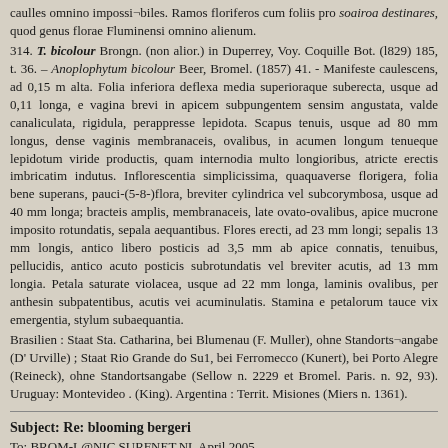caulles omnino impossi¬biles. Ramos floriferos cum foliis pro Soairoa destinares, quod genus florae Fluminensi omnino alienum.
314. T. bicolour Brongn. (non alior.) in Duperrey, Voy. Coquille Bot. (l829) 185, t. 36. – Anoplophytum bicolour Beer, Bromel. (1857) 41. - Manifeste caulescens, ad 0,15 m alta. Folia inferiora deflexa media superioraque suberecta, usque ad 0,11 longa, e vagina brevi in apicem subpungentem sensim angustata, valde canaliculata, rigidula, perappresse lepidota. Scapus tenuis, usque ad 80 mm longus, dense vaginis membranaceis, ovalibus, in acumen longum tenueque lepidotum viride productis, quam internodia multo longioribus, atricte erectis imbricatim indutus. Inflorescentia simplicissima, quaquaverse florigera, folia bene superans, pauci-(5-8-)flora, breviter cylindrica vel subcorymbosa, usque ad 40 mm longa; bracteis amplis, membranaceis, late ovato-ovalibus, apice mucrone imposito rotundatis, sepala aequantibus. Flores erecti, ad 23 mm longi; sepalis 13 mm longis, antico libero posticis ad 3,5 mm ab apice connatis, tenuibus, pellucidis, antico acuto posticis subrotundatis vel breviter acutis, ad 13 mm longia. Petala saturate violacea, usque ad 22 mm longa, laminis ovalibus, per anthesin subpatentibus, acutis vei acuminulatis. Stamina e petalorum tauce vix emergentia, stylum subaequantia.
Brasilien : Staat Sta. Catharina, bei Blumenau (F. Muller), ohne Standorts¬angabe (D' Urville) ; Staat Rio Grande do Su1, bei Ferromecco (Kunert), bei Porto Alegre (Reineck), ohne Standortsangabe (Sellow n. 2229 et Bromel. Paris. n. 92, 93). Uruguay: Montevideo . (King). Argentina : Territ. Misiones (Miers n. 1361).
Subject: Re: blooming bergeri
To: BROM-L@NIC.SURFNET.NL April 2005
This non flowering T. bergeri is one of the real curses of my life.